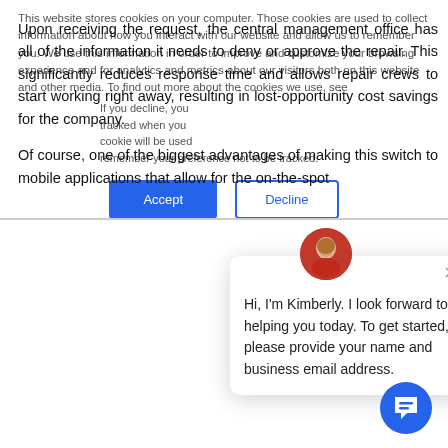Upon receiving the request, the central management office has all of the information it needs to deny or approve the repair. This significantly reduces response time and allows repair crews to start working right away, resulting in lost-opportunity cost savings for the company.

Of course, one of the biggest advantages of making this switch to mobile applications that allow for the on-the-spot
This website stores cookies on your computer. Those cookies are used to collect information about how you interact with our website and allow us to remember you. We use this information in order to improve and customize your browsing experience and for analytics and metrics about our visitors both on this website and other media. To find out more about the cookies we use, see
If you decline, your information won't be tracked when you visit this website. A single cookie will be used in your browser to remember your preference not to be tracked.
[Figure (infographic): Chat popup with avatar of Kimberly. Message reads: Hi, I'm Kimberly. I look forward to helping you today. To get started, please provide your name and business email address. Close (X) button in top right.]
Accept
Decline